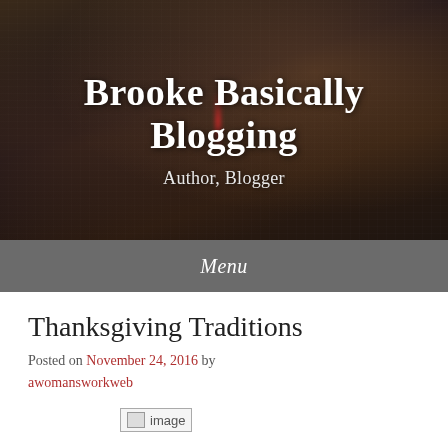Brooke Basically Blogging
Author, Blogger
Menu
Thanksgiving Traditions
Posted on November 24, 2016 by awomansworkweb
[Figure (photo): Broken/placeholder image labeled 'image']